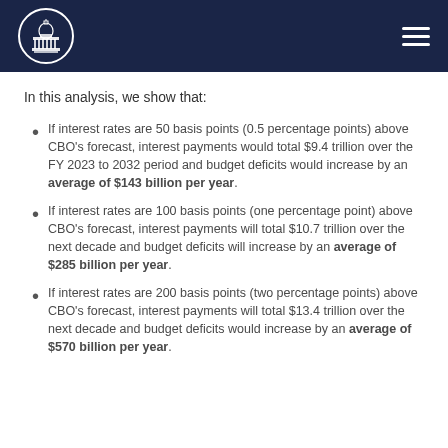CBO logo and navigation header
In this analysis, we show that:
If interest rates are 50 basis points (0.5 percentage points) above CBO's forecast, interest payments would total $9.4 trillion over the FY 2023 to 2032 period and budget deficits would increase by an average of $143 billion per year.
If interest rates are 100 basis points (one percentage point) above CBO's forecast, interest payments will total $10.7 trillion over the next decade and budget deficits will increase by an average of $285 billion per year.
If interest rates are 200 basis points (two percentage points) above CBO's forecast, interest payments will total $13.4 trillion over the next decade and budget deficits would increase by an average of $570 billion per year.